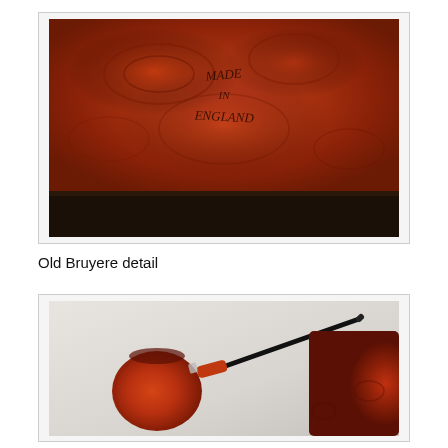[Figure (photo): Close-up photo of a briar pipe bowl showing stamped text 'MADE IN ENGLAND' on reddish-brown burl wood surface with dark black base band]
Old Bruyere detail
[Figure (photo): Photo of a tobacco pipe with a reddish-brown bowl and black stem, shown at an angle against a light background with a textured briar object visible at right]